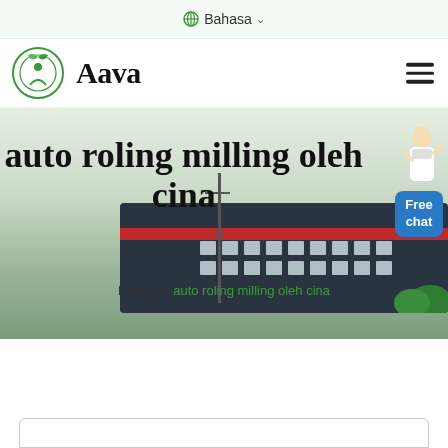Bahasa
Aava
auto roling milling oleh cina
Home / auto roling milling oleh cina
[Figure (photo): Screenshot of an Indonesian website named Aava showing page title 'auto roling milling oleh cina' with a breadcrumb navigation and a partial building photo in the background. A Free chat widget appears in the top right.]